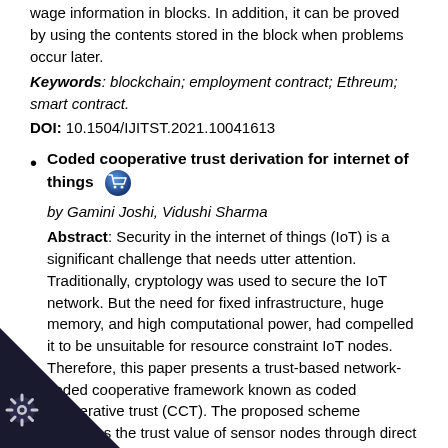wage information in blocks. In addition, it can be proved by using the contents stored in the block when problems occur later.
Keywords: blockchain; employment contract; Ethreum; smart contract.
DOI: 10.1504/IJITST.2021.10041613
Coded cooperative trust derivation for internet of things by Gamini Joshi, Vidushi Sharma Abstract: Security in the internet of things (IoT) is a significant challenge that needs utter attention. Traditionally, cryptology was used to secure the IoT network. But the need for fixed infrastructure, huge memory, and high computational power, had compelled it to be unsuitable for resource constraint IoT nodes. Therefore, this paper presents a trust-based network-coded cooperative framework known as coded cooperative trust (CCT). The proposed scheme evaluates the trust value of sensor nodes through direct and indirect specifications. Proximity, frequency-duration, and energy attributes were
[Figure (illustration): Dark triangle shape in bottom-left corner with a gear/settings icon]